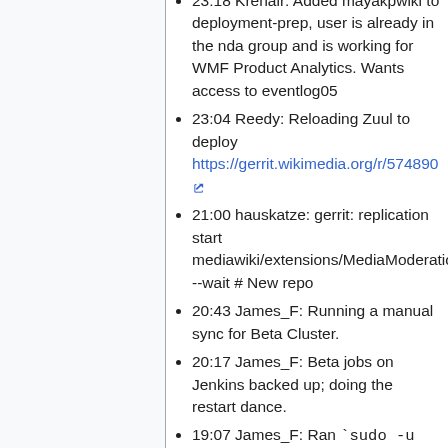23:18 Krenair: Added mayakpwiki to deployment-prep, user is already in the nda group and is working for WMF Product Analytics. Wants access to eventlog05
23:04 Reedy: Reloading Zuul to deploy https://gerrit.wikimedia.org/r/574890
21:00 hauskatze: gerrit: replication start mediawiki/extensions/MediaModeration --wait # New repo
20:43 James_F: Running a manual sync for Beta Cluster.
20:17 James_F: Beta jobs on Jenkins backed up; doing the restart dance.
19:07 James_F: Ran `sudo -u doc-uploader git -C /srv/docroot pull` on